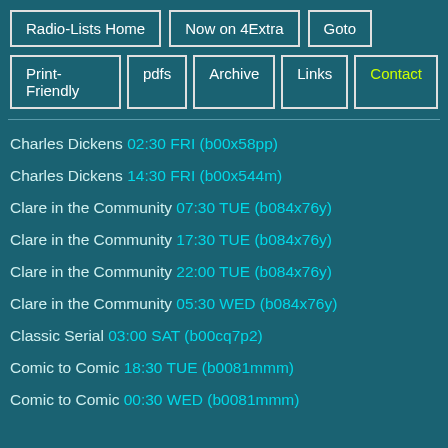Radio-Lists Home
Now on 4Extra
Goto
Print-Friendly
pdfs
Archive
Links
Contact
Charles Dickens 02:30 FRI (b00x58pp)
Charles Dickens 14:30 FRI (b00x544m)
Clare in the Community 07:30 TUE (b084x76y)
Clare in the Community 17:30 TUE (b084x76y)
Clare in the Community 22:00 TUE (b084x76y)
Clare in the Community 05:30 WED (b084x76y)
Classic Serial 03:00 SAT (b00cq7p2)
Comic to Comic 18:30 TUE (b0081mmm)
Comic to Comic 00:30 WED (b0081mmm)